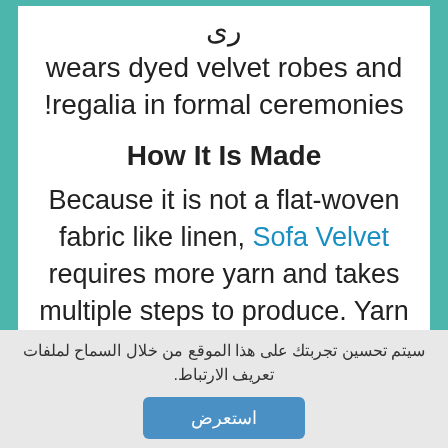wears dyed velvet robes and !regalia in formal ceremonies
How It Is Made
Because it is not a flat-woven fabric like linen, Sofa Velvet requires more yarn and takes multiple steps to produce. Yarn is first woven together on
سيتم تحسين تجربتك على هذا الموقع من خلال السماح لملفات تعريف الارتباط.
استعرض